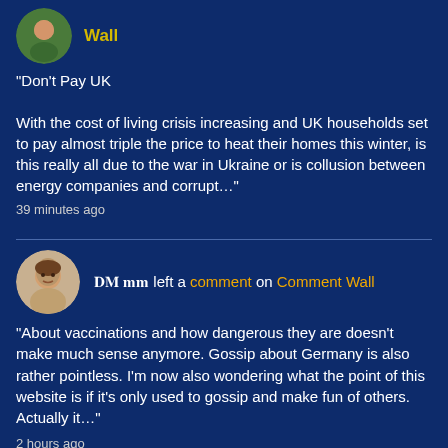[Figure (photo): Round avatar photo of a person in a green top against an outdoor background]
Wall
"Don't Pay UK

With the cost of living crisis increasing and UK households set to pay almost triple the price to heat their homes this winter, is this really all due to the war in Ukraine or is collusion between energy companies and corrupt…"
39 minutes ago
[Figure (photo): Round avatar photo of a woman's face]
𝐃𝐌 left a comment on Comment Wall
"About vaccinations and how dangerous they are doesn't make much sense anymore. Gossip about Germany is also rather pointless. I'm now also wondering what the point of this website is if it's only used to gossip and make fun of others. Actually it…"
2 hours ago